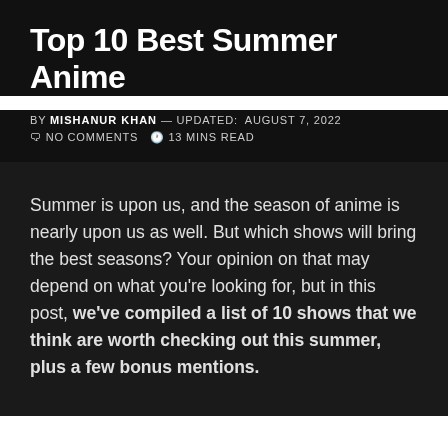Top 10 Best Summer Anime
BY MISHANUR KHAN — UPDATED: AUGUST 7, 2022 🗨 NO COMMENTS 🕐 13 MINS READ
Summer is upon us, and the season of anime is nearly upon us as well. But which shows will bring the best seasons? Your opinion on that may depend on what you're looking for, but in this post, we've compiled a list of 10 shows that we think are worth checking out this summer, plus a few bonus mentions.